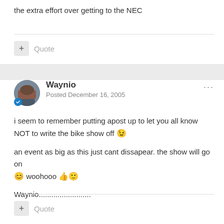the extra effort over getting to the NEC
+ Quote
Waynio
Posted December 16, 2005
i seem to remember putting apost up to let you all know NOT to write the bike show off
an event as big as this just cant dissapear. the show will go on woohooo
Waynio.........................
+ Quote